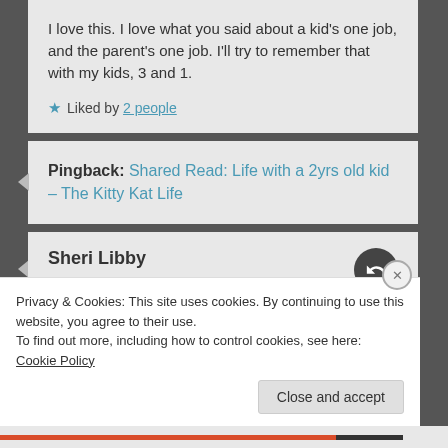I love this. I love what you said about a kid's one job, and the parent's one job. I'll try to remember that with my kids, 3 and 1.
★ Liked by 2 people
Pingback: Shared Read: Life with a 2yrs old kid – The Kitty Kat Life
Sheri Libby
14 August 2021 at 4:38
Privacy & Cookies: This site uses cookies. By continuing to use this website, you agree to their use.
To find out more, including how to control cookies, see here: Cookie Policy